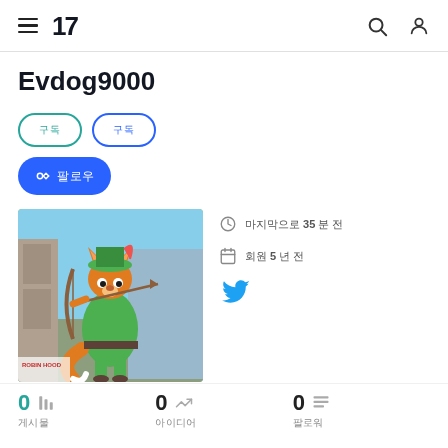TradingView navigation header with hamburger menu, logo '17', search icon, and user icon
Evdog9000
Button: 구독 (green outline)
Button: 구독 (blue outline)
Button: 팔로우 (blue solid)
[Figure (photo): Robin Hood fox cartoon character drawing a bow and arrow]
마지막으로 35 분 전
회원 5 년 전
[Figure (illustration): Twitter bird icon in blue]
0 게시물
0 아이디어
0 팔로워